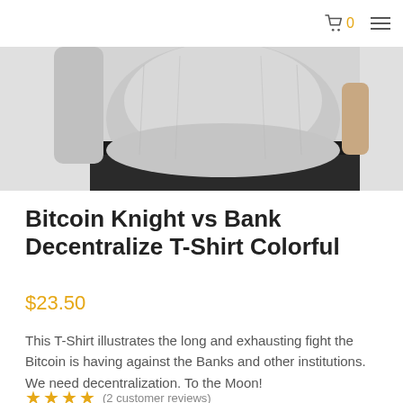0
[Figure (photo): Product photo showing the torso of a person wearing a light grey t-shirt with black pants, product image cropped at chest and hips.]
Bitcoin Knight vs Bank Decentralize T-Shirt Colorful
$23.50
This T-Shirt illustrates the long and exhausting fight the Bitcoin is having against the Banks and other institutions. We need decentralization. To the Moon!
(2 customer reviews)